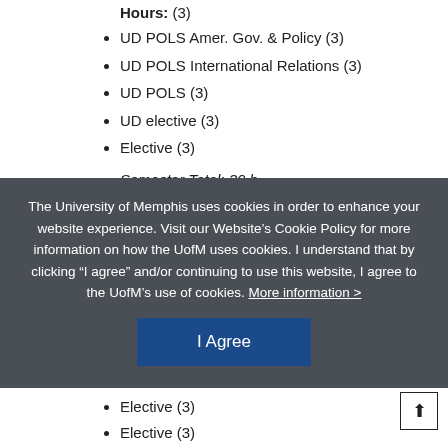Hours: (3)
UD POLS Amer. Gov. & Policy (3)
UD POLS International Relations (3)
UD POLS (3)
UD elective (3)
Elective (3)
Semester Total: 30 h...
The University of Memphis uses cookies in order to enhance your website experience. Visit our Website’s Cookie Policy for more information on how the UofM uses cookies. I understand that by clicking “I agree” and/or continuing to use this website, I agree to the UofM’s use of cookies. More information >
Elective (3)
Elective (3)